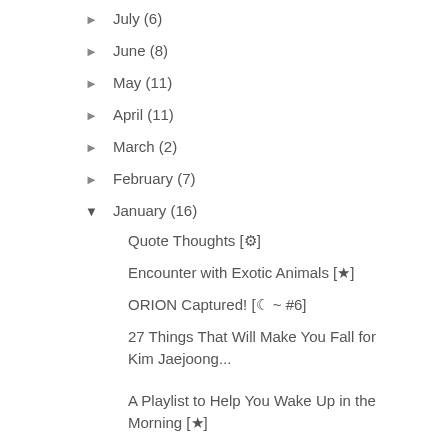► July (6)
► June (8)
► May (11)
► April (11)
► March (2)
► February (7)
▼ January (16)
Quote Thoughts [⚙]
Encounter with Exotic Animals [★]
ORION Captured! [☽ ~ #6]
27 Things That Will Make You Fall for Kim Jaejoong...
A Playlist to Help You Wake Up in the Morning [★]